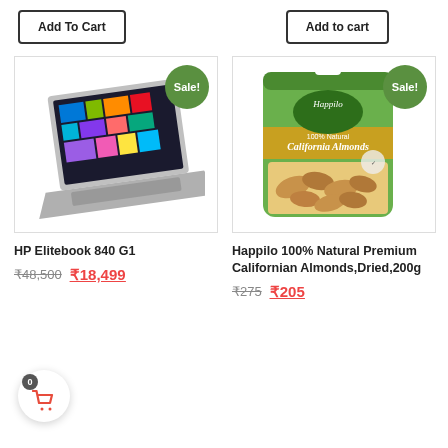Add To Cart
Add to cart
[Figure (photo): HP Elitebook 840 G1 laptop with Sale! badge]
[Figure (photo): Happilo 100% Natural California Almonds 200g bag with Sale! badge]
HP Elitebook 840 G1
₹48,500  ₹18,499
Happilo 100% Natural Premium Californian Almonds,Dried,200g
₹275  ₹205